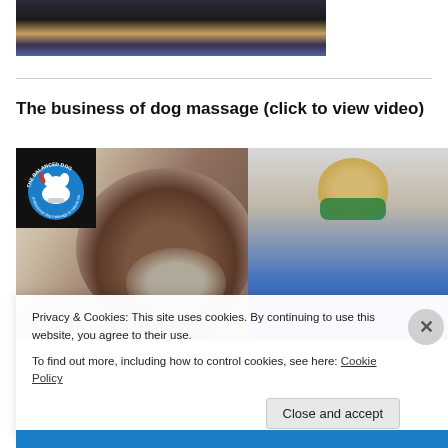[Figure (photo): Partial photo of a dog lying on a blue patterned surface, cropped at top of page]
The business of dog massage (click to view video)
[Figure (photo): Photo of an older brown dog with a grey muzzle beside a woman wearing green goggles and a blue shirt, with 'The Balanced Dog' logo overlay in top-left corner]
Privacy & Cookies: This site uses cookies. By continuing to use this website, you agree to their use.
To find out more, including how to control cookies, see here: Cookie Policy
Close and accept